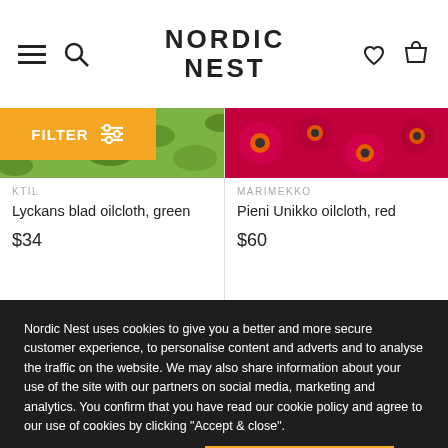NORDIC NEST
[Figure (photo): Green leaf pattern oilcloth fabric swatch]
[Figure (photo): Red floral Marimekko Pieni Unikko oilcloth fabric swatch]
KTIL
MARIMEKKO
Lyckans blad oilcloth, green
Pieni Unikko oilcloth, red
$34
$60
Nordic Nest uses cookies to give you a better and more secure customer experience, to personalise content and adverts and to analyse the traffic on the website. We may also share information about your use of the site with our partners on social media, marketing and analytics. You confirm that you have read our cookie policy and agree to our use of cookies by clicking "Accept & close".
READ MORE
ACCEPT & CLOSE